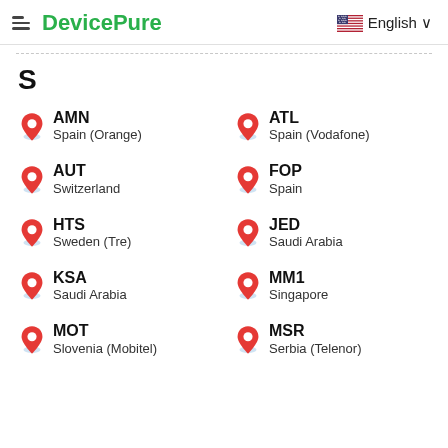DevicePure   English
S
AMN
Spain (Orange)
ATL
Spain (Vodafone)
AUT
Switzerland
FOP
Spain
HTS
Sweden (Tre)
JED
Saudi Arabia
KSA
Saudi Arabia
MM1
Singapore
MOT
Slovenia (Mobitel)
MSR
Serbia (Telenor)